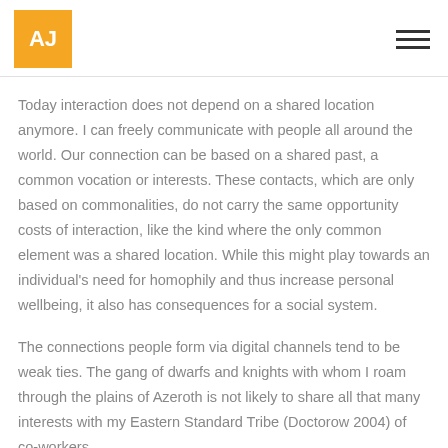AJ [logo] | hamburger menu
Today interaction does not depend on a shared location anymore. I can freely communicate with people all around the world. Our connection can be based on a shared past, a common vocation or interests. These contacts, which are only based on commonalities, do not carry the same opportunity costs of interaction, like the kind where the only common element was a shared location. While this might play towards an individual's need for homophily and thus increase personal wellbeing, it also has consequences for a social system.
The connections people form via digital channels tend to be weak ties. The gang of dwarfs and knights with whom I roam through the plains of Azeroth is not likely to share all that many interests with my Eastern Standard Tribe (Doctorow 2004) of co-workers